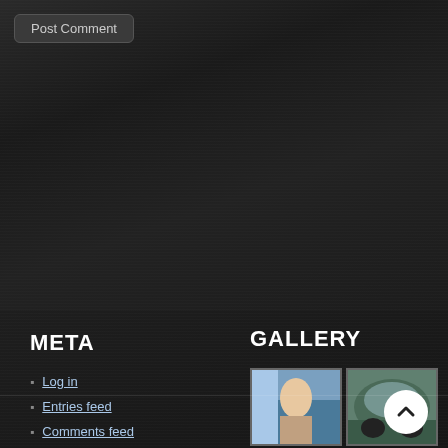Post Comment
META
Log in
Entries feed
Comments feed
WordPress.org
GALLERY
[Figure (photo): Gallery thumbnail 1: figure/person artwork]
[Figure (photo): Gallery thumbnail 2: green car/vehicle closeup]
[Figure (photo): Gallery thumbnail 3: yellow VW Beetle car]
[Figure (photo): Gallery thumbnail 4: white tiger face on red background]